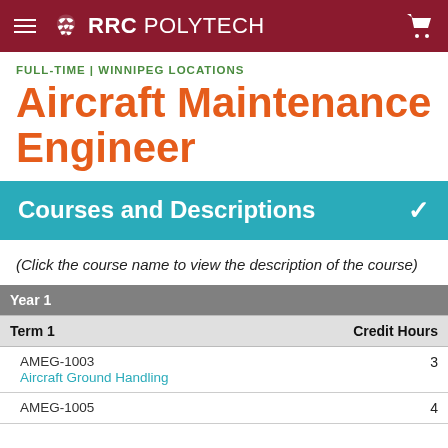RRC POLYTECH
FULL-TIME | WINNIPEG LOCATIONS
Aircraft Maintenance Engineer
Courses and Descriptions
(Click the course name to view the description of the course)
|  | Credit Hours |
| --- | --- |
| Year 1 |  |
| Term 1 | Credit Hours |
| AMEG-1003
Aircraft Ground Handling | 3 |
| AMEG-1005 | 4 |